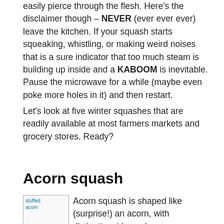easily pierce through the flesh. Here's the disclaimer though – NEVER (ever ever ever) leave the kitchen. If your squash starts squeaking, whistling, or making weird noises that is a sure indicator that too much steam is building up inside and a KABOOM is inevitable. Pause the microwave for a while (maybe even poke more holes in it) and then restart.
Let's look at five winter squashes that are readily available at most farmers markets and grocery stores. Ready?
Acorn squash
[Figure (photo): Broken image placeholder labeled 'stuffed acorn' in teal/cyan text]
Acorn squash is shaped like (surprise!) an acorn, with distinctive ridges along